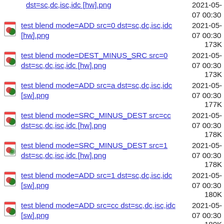dst=sc,dc,isc,idc [hw].png  2021-05-07 00:30
test blend mode=ADD src=0 dst=sc,dc,isc,idc [hw].png  2021-05-07 00:30  173K
test blend mode=DEST_MINUS_SRC src=0 dst=sc,dc,isc,idc [hw].png  2021-05-07 00:30  173K
test blend mode=ADD src=a dst=sc,dc,isc,idc [sw].png  2021-05-07 00:30  177K
test blend mode=SRC_MINUS_DEST src=cc dst=sc,dc,isc,idc [hw].png  2021-05-07 00:30  178K
test blend mode=SRC_MINUS_DEST src=1 dst=sc,dc,isc,idc [hw].png  2021-05-07 00:30  178K
test blend mode=ADD src=1 dst=sc,dc,isc,idc [sw].png  2021-05-07 00:30  180K
test blend mode=ADD src=cc dst=sc,dc,isc,idc [sw].png  2021-05-07 00:30  180K
test blend mode=SRC_MINUS_DEST src=1 dst=cc,icc [hw].png  2021-05-07 00:30  182K
test blend mode=SRC_MINUS_DEST src=cc dst=cc,icc [hw].png  2021-05-07 00:30  182K
test blend mode=DEST_MINUS_SRC src=icc dst=cc,icc [hw].png  2021-05-07 00:30  183K
test blend mode=DEST_MINUS_SRC src=isc dst=cc,icc [hw].png  2021-05-07 00:30  184K